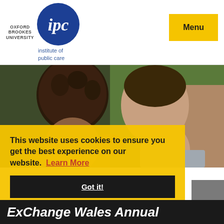[Figure (logo): Oxford Brookes University and IPC (Institute of Public Care) logos in header, plus Menu button]
[Figure (photo): Close-up photograph of two children seen from behind, one with curly dark hair and one in a grey top, with a colorful blurred background]
This website uses cookies to ensure you get the best experience on our website.  Learn More
Got it!
ExChange Wales Annual